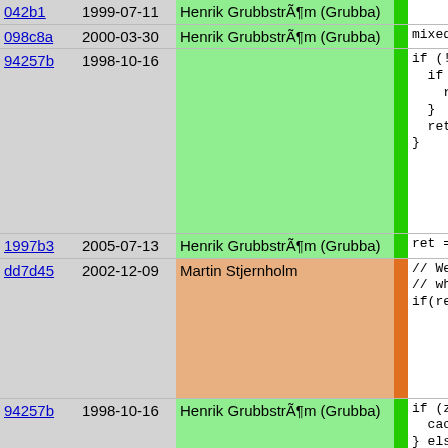| hash | date | author | bar | code |
| --- | --- | --- | --- | --- |
| 098c8a | 2000-03-30 | Henrik GrubbstrÃ¶m (Grubba) |  | mixed |
| 94257b | 1998-10-16 | Henrik GrubbstrÃ¶m (Grubba) |  | if (!z
  if (
    re
  }
  retu
} |
| 1997b3 | 2005-07-13 | Henrik GrubbstrÃ¶m (Grubba) |  | ret = |
| dd7d45 | 2002-12-09 | Martin Stjernholm |  | // We
// whi
if(ret |
| 94257b | 1998-10-16 | Henrik GrubbstrÃ¶m (Grubba) |  | if (ze
  cach
} else
  cach
}
return
} |
| eb801d | 2003-06-05 | Martin Stjernholm |  |  |
| 35f51c | 2008-06-28 | Martin Nilsson |  | protecte |
| eb801d | 2003-06-05 | Martin Stjernholm |  |  |
| 3e4b81 | 1998-10-16 | Henrik GrubbstrÃ¶m (Grubba) |  | void fi |